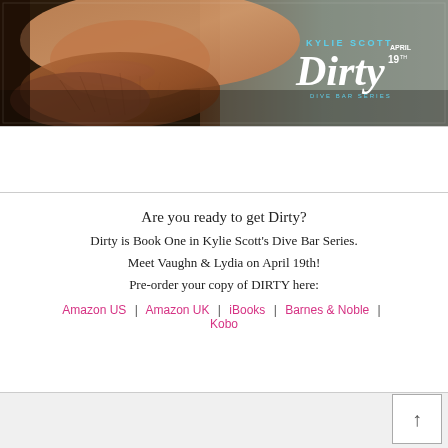[Figure (photo): Book promotional banner for 'Dirty' by Kylie Scott — Dive Bar Series, April 19th. Close-up of a bearded man's face on left, teal/grey background on right with text overlay showing author name, book title in italic, series name, and release date.]
Are you ready to get Dirty?
Dirty is Book One in Kylie Scott's Dive Bar Series.
Meet Vaughn & Lydia on April 19th!
Pre-order your copy of DIRTY here:
Amazon US  |  Amazon UK  |  iBooks  |  Barnes & Noble  |  Kobo